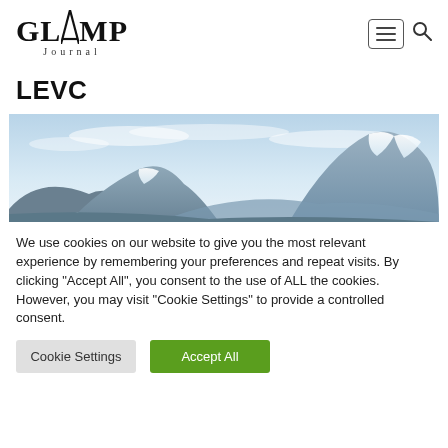GLAMP Journal
LEVC
[Figure (photo): Panoramic mountain landscape with snow-capped peaks and a light blue sky]
We use cookies on our website to give you the most relevant experience by remembering your preferences and repeat visits. By clicking "Accept All", you consent to the use of ALL the cookies. However, you may visit "Cookie Settings" to provide a controlled consent.
Cookie Settings | Accept All